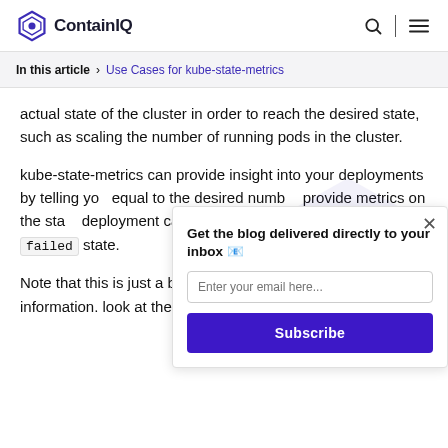ContainIQ
In this article > Use Cases for kube-state-metrics
actual state of the cluster in order to reach the desired state, such as scaling the number of running pods in the cluster.
kube-state-metrics can provide insight into your deployments by telling you equal to the desired number provide metrics on the state deployment can be in a `progressing` or `failed` state.
Note that this is just a brief isn't limited to the objects information. look at the doc